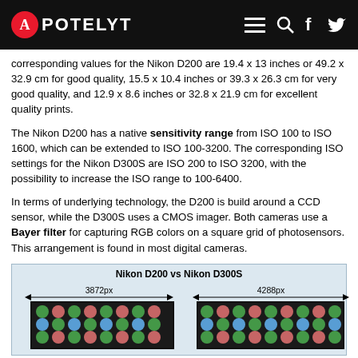APOTELYT
corresponding values for the Nikon D200 are 19.4 x 13 inches or 49.2 x 32.9 cm for good quality, 15.5 x 10.4 inches or 39.3 x 26.3 cm for very good quality, and 12.9 x 8.6 inches or 32.8 x 21.9 cm for excellent quality prints.
The Nikon D200 has a native sensitivity range from ISO 100 to ISO 1600, which can be extended to ISO 100-3200. The corresponding ISO settings for the Nikon D300S are ISO 200 to ISO 3200, with the possibility to increase the ISO range to 100-6400.
In terms of underlying technology, the D200 is build around a CCD sensor, while the D300S uses a CMOS imager. Both cameras use a Bayer filter for capturing RGB colors on a square grid of photosensors. This arrangement is found in most digital cameras.
[Figure (infographic): Comparison diagram titled 'Nikon D200 vs Nikon D300S' showing sensor pixel dimensions: 3872px width for D200 and 4288px width for D300S, with Bayer filter color grid visualization for each camera sensor.]